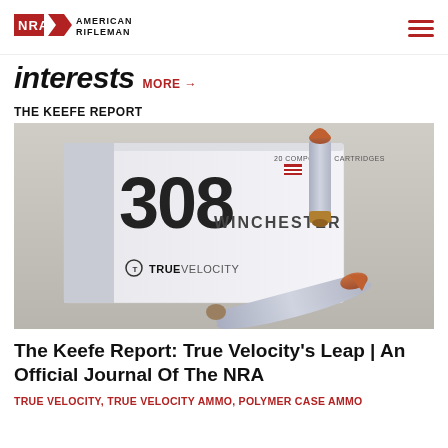NRA AMERICAN RIFLEMAN
interests MORE →
THE KEEFE REPORT
[Figure (photo): Box of True Velocity 308 Winchester composite cartridges with two individual cartridges displayed in front, showing polymer/composite cases and copper-tipped bullets.]
The Keefe Report: True Velocity's Leap | An Official Journal Of The NRA
TRUE VELOCITY, TRUE VELOCITY AMMO, POLYMER CASE AMMO